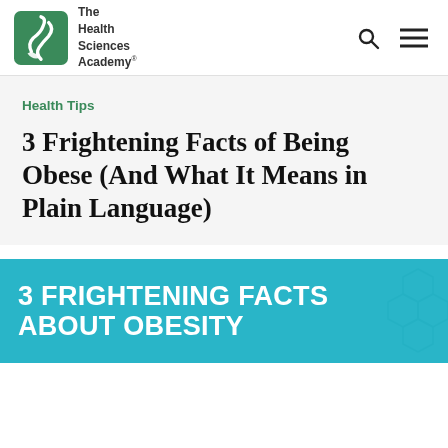The Health Sciences Academy
Health Tips
3 Frightening Facts of Being Obese (And What It Means in Plain Language)
[Figure (infographic): Teal infographic banner with large white bold text reading '3 FRIGHTENING FACTS ABOUT OBESITY' with hexagonal pattern overlay on right side]